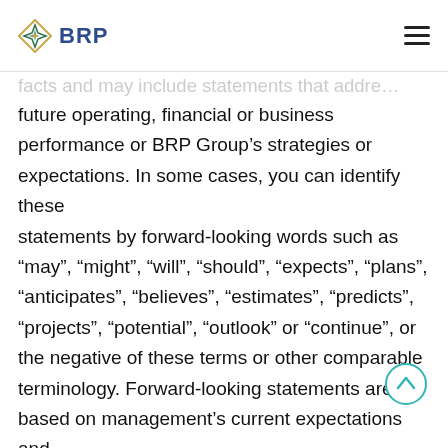BRP
statements) are statements other than historical facts and may include statements that address future operating, financial or business performance or BRP Group’s strategies or expectations. In some cases, you can identify these statements by forward-looking words such as “may”, “might”, “will”, “should”, “expects”, “plans”, “anticipates”, “believes”, “estimates”, “predicts”, “projects”, “potential”, “outlook” or “continue”, or the negative of these terms or other comparable terminology. Forward-looking statements are based on management’s current expectations and beliefs and involve significant risks and uncertainties that could cause actual results, developments and business decisions to differ